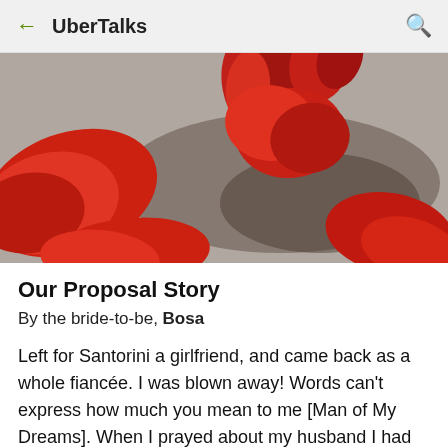← UberTalks 🔍
[Figure (photo): Close-up photo of red rose petals scattered on a silver/grey glittery surface]
Our Proposal Story
By the bride-to-be, Bosa
Left for Santorini a girlfriend, and came back as a whole fiancée. I was blown away! Words can't express how much you mean to me [Man of My Dreams]. When I prayed about my husband I had